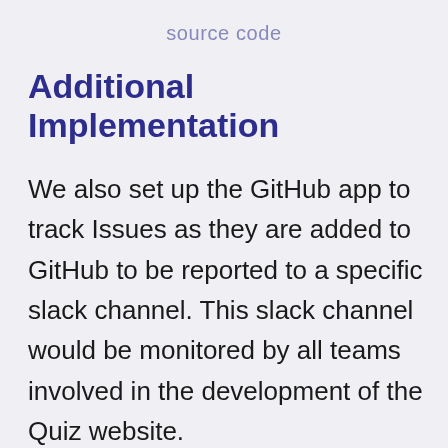source code
Additional Implementation
We also set up the GitHub app to track Issues as they are added to GitHub to be reported to a specific slack channel. This slack channel would be monitored by all teams involved in the development of the Quiz website.